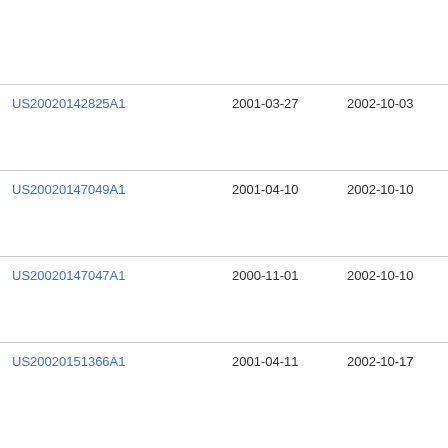| Patent Number | Filing Date | Publication Date | Assignee |
| --- | --- | --- | --- |
|  |  |  | Ga...
Tec... |
| US20020142825A1 | 2001-03-27 | 2002-10-03 | Igt |
| US20020147049A1 | 2001-04-10 | 2002-10-10 | Car... |
| US20020147047A1 | 2000-11-01 | 2002-10-10 | Ho... |
| US20020151366A1 | 2001-04-11 | 2002-10-17 | Wa... |
| US20020167536A1 | 2001-03-30 | 2002-11-14 | Kon...
Phi...
Ele... |
| US20020183105A1 | 2001-06-01 | 2002-12-05 | Ca... |